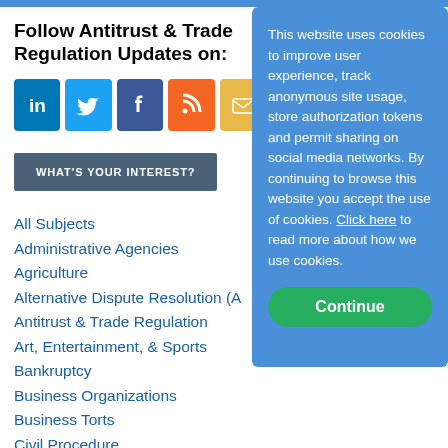Follow Antitrust & Trade Regulation Updates on:
[Figure (infographic): Social media icons: LinkedIn (blue), Twitter (light blue), Facebook (dark blue), RSS (orange), Email (yellow)]
WHAT'S YOUR INTEREST?
All Subjects
Administrative Agencies
Agriculture
Alternative Dispute Resolution (A
Antitrust & Trade Regulation
Art, Entertainment, & Sports
Bankruptcy
Business Organizations
Business Torts
Civil Procedure
This website uses cookies to improve user experience, track anonymous site usage, store authorization tokens and permit sharing on social media networks. By continuing to browse this website you accept the use of cookies. Click here to read more about how we use cookies.
Continue